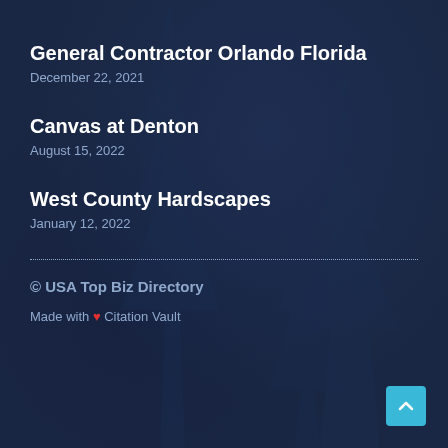General Contractor Orlando Florida
December 22, 2021
Canvas at Denton
August 15, 2022
West County Hardscapes
January 12, 2022
© USA Top Biz Directory
Made with ❤ Citation Vault